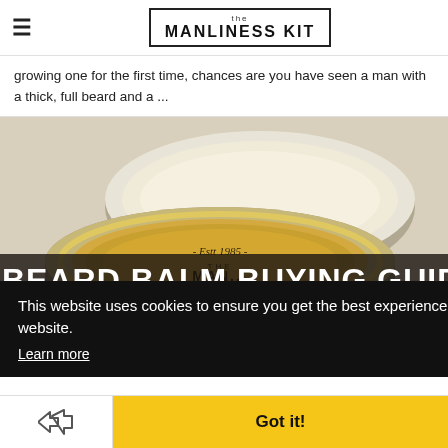the MANLINESS KIT
growing one for the first time, chances are you have seen a man with a thick, full beard and a ...
[Figure (photo): Photo of two metal tins of beard balm, one open showing creamy product and gold label reading '- Esttt 1985 -' with 'THE' and partial brand name visible. Overlaid with text 'BEARD BALM BUYING GUIDE' and 'D BALM' subtitle on dark semi-transparent banner.]
This website uses cookies to ensure you get the best experience on our website. Learn more
Got it!